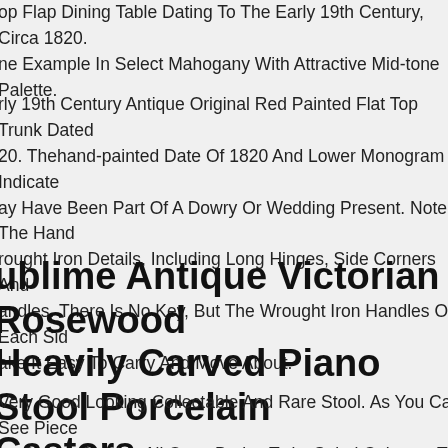op Flap Dining Table Dating To The Early 19th Century, Circa 1820. ne Example In Select Mahogany With Attractive Mid-tone Palette.
rly 19th Century Antique Original Red Painted Flat Top Trunk Dated 20. Thehand-painted Date Of 1820 And Lower Monogram Indicate ay Have Been Part Of A Dowry Or Wedding Present. Note The Hand rought Iron Details, Including Long Hinges, Side Corners And andles. There Is No Key, But The Wrought Iron Handles On Each Side ake It Easy To Carry And Move About.
ublime Antique Victorian Rosewood Heavily Carved Piano Stool Porcelain Castors
Very Good Looking Collectable And Rare Stool. As You Can See Piece as Ornate Carving All Over, Barley Twist Spiral Columns To The Sides ne Period Regency Green Upholstery And Large Internal Storage pace.